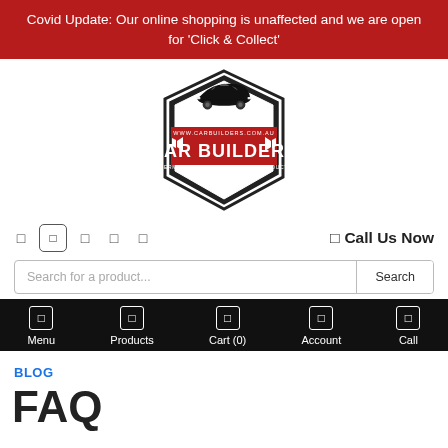Covid Update: Our online shopping is unaffected and we are open for 'Click & Collect'
[Figure (logo): Car Builders logo — hexagonal badge with a black muscle car on top, red banner reading 'CAR BUILDERS', website www.carbuilders.com.au, and text 'THERMAL ACOUSTIC INSULATION PRODUCTS EST 1978']
☎ Call Us Now
Search for a product...
Menu | Products | Cart (0) | Account | Call
BLOG
FAQ